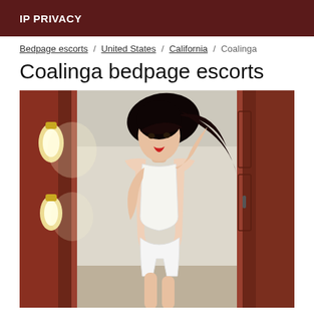IP PRIVACY
Bedpage escorts / United States / California / Coalinga
Coalinga bedpage escorts
[Figure (photo): A woman with dark hair posing in a white outfit in a hallway with warm wall lighting and dark wood door frames on either side.]